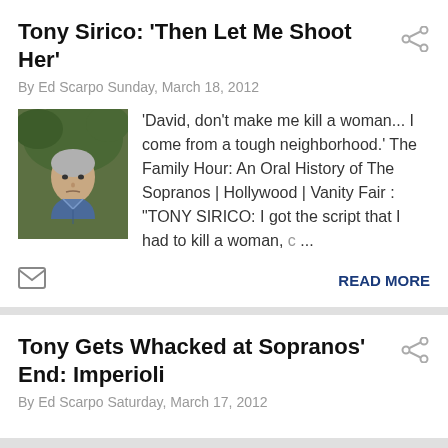Tony Sirico: 'Then Let Me Shoot Her'
By Ed Scarpo Sunday, March 18, 2012
[Figure (photo): Photo of Tony Sirico, a man with grey hair wearing a blue shirt, looking stern]
'David, don't make me kill a woman... I come from a tough neighborhood.' The Family Hour: An Oral History of The Sopranos | Hollywood | Vanity Fair : "TONY SIRICO: I got the script that I had to kill a woman, c ...
READ MORE
Tony Gets Whacked at Sopranos' End: Imperioli
By Ed Scarpo Saturday, March 17, 2012